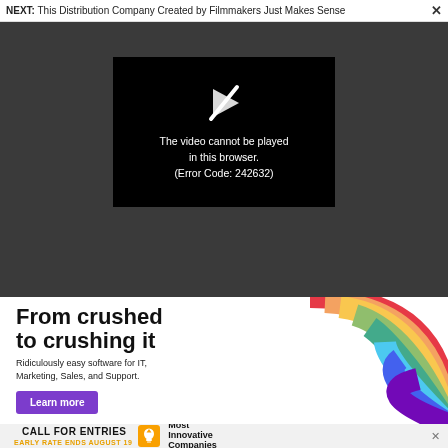NEXT: This Distribution Company Created by Filmmakers Just Makes Sense ×
[Figure (screenshot): Dark gray video player background with a black video box in the center showing a broken/slashed play icon and error message: 'The video cannot be played in this browser. (Error Code: 242632)']
[Figure (infographic): Advertisement banner: 'From crushed to crushing it. Ridiculously easy software for IT, Marketing, Sales, and Support. Learn more' with rainbow arc graphic on the right side.]
[Figure (infographic): Bottom ad bar: 'CALL FOR ENTRIES EARLY RATE ENDS AUGUST 19' with lightbulb icon and 'Most Innovative Companies' text. Close X button on right.]